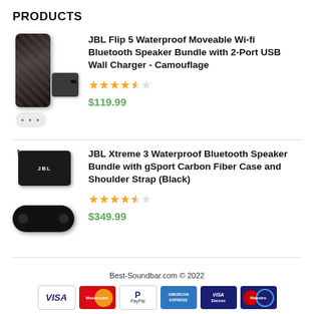PRODUCTS
JBL Flip 5 Waterproof Moveable Wi-fi Bluetooth Speaker Bundle with 2-Port USB Wall Charger - Camouflage | Rating: 4.5 stars | $119.99
JBL Xtreme 3 Waterproof Bluetooth Speaker Bundle with gSport Carbon Fiber Case and Shoulder Strap (Black) | Rating: 4.5 stars | $349.99
Best-Soundbar.com © 2022